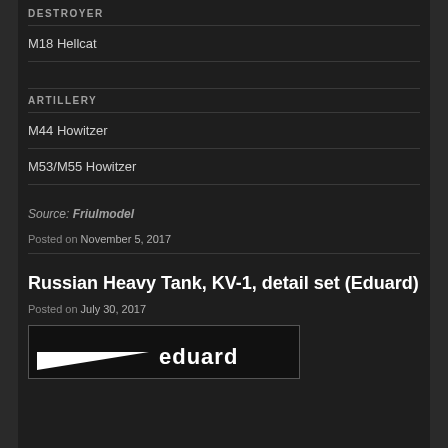DESTROYER
M18 Hellcat
ARTILLERY
M44 Howitzer
M53/M55 Howitzer
Source: Friulmodel
Posted on November 5, 2017
Russian Heavy Tank, KV-1, detail set (Eduard)
Posted on July 30, 2017
[Figure (logo): Eduard brand logo — white triangle shape on black background with 'eduard' text in white on right side, bordered rectangle]